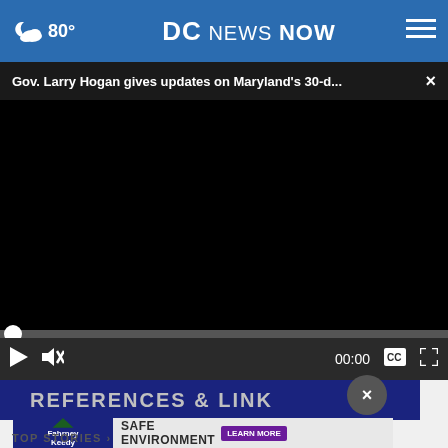80° DC NEWS NOW
Gov. Larry Hogan gives updates on Maryland's 30-d... ×
[Figure (screenshot): Black video player area showing a paused video]
▶ 🔇 00:00 💬 ⛶
REFERENCES & LINKS
[Figure (photo): Fahrney Keedy advertisement - Safe Environment Learn More]
TOP STORIES ›